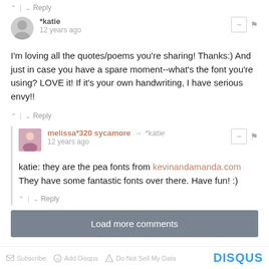^ | v Reply
*katie
12 years ago
I'm loving all the quotes/poems you're sharing! Thanks:) And just in case you have a spare moment--what's the font you're using? LOVE it! If it's your own handwriting, I have serious envy!!
^ | v Reply
melissa*320 sycamore → *katie
12 years ago
katie: they are the pea fonts from kevinandamanda.com They have some fantastic fonts over there. Have fun! :)
^ | v Reply
Load more comments
Subscribe  Add Disqus  Do Not Sell My Data  DISQUS